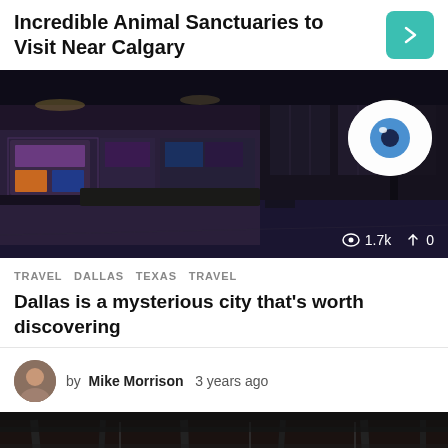Incredible Animal Sanctuaries to Visit Near Calgary
[Figure (photo): Nighttime city street scene with illuminated storefronts and a large eyeball sculpture on the right]
1.7k   0
TRAVEL   DALLAS   TEXAS   TRAVEL
Dallas is a mysterious city that's worth discovering
by Mike Morrison 3 years ago
[Figure (photo): Interior ceiling of a venue with chandeliers and exposed beams, dark ambiance]